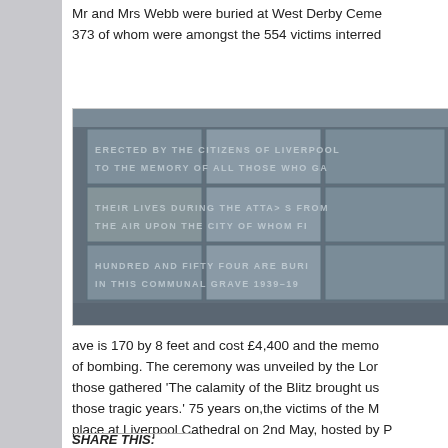Mr and Mrs Webb were buried at West Derby Cemet… 373 of whom were amongst the 554 victims interred…
[Figure (photo): Photograph of a stone memorial plaque with carved text reading: ERECTED BY THE CITIZENS OF LIVERPOOL TO THE MEMORY OF ALL THOSE WHO GAVE THEIR LIVES DURING THE ATTACKS FROM THE AIR UPON THE CITY OF WHOM FIVE HUNDRED AND FIFTY FOUR ARE BURIED IN THIS COMMUNAL GRAVE 1939–19…]
ave is 170 by 8 feet and cost £4,400 and the memo… of bombing. The ceremony was unveiled by the Lor… those gathered 'The calamity of the Blitz brought us… those tragic years.' 75 years on,the victims of the M… place at Liverpool Cathedral on 2nd May, hosted by P…
SHARE THIS: